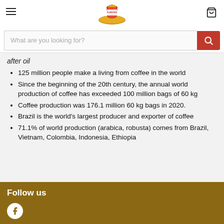[Figure (logo): Flaronis brand logo with red and gold design]
What are you looking for?
after oil
125 million people make a living from coffee in the world
Since the beginning of the 20th century, the annual world production of coffee has exceeded 100 million bags of 60 kg
Coffee production was 176.1 million 60 kg bags in 2020.
Brazil is the world's largest producer and exporter of coffee
71.1% of world production (arabica, robusta) comes from Brazil, Vietnam, Colombia, Indonesia, Ethiopia
Follow us